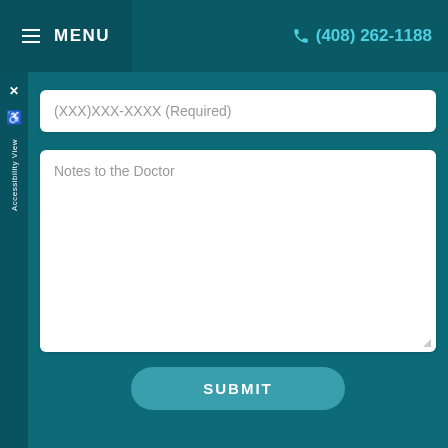MENU   (408) 262-1188
(XXX)XXX-XXXX (Required)
Notes to the Doctor
Please do not submit any Protected Health Information (PHI).
SUBMIT